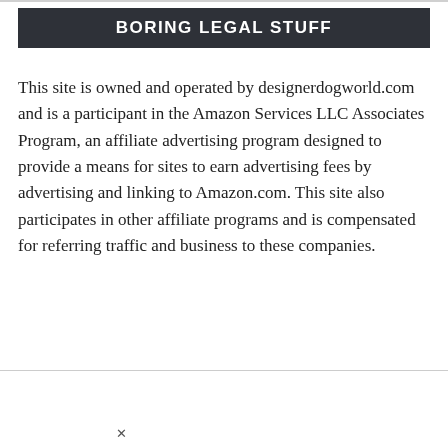BORING LEGAL STUFF
This site is owned and operated by designerdogworld.com and is a participant in the Amazon Services LLC Associates Program, an affiliate advertising program designed to provide a means for sites to earn advertising fees by advertising and linking to Amazon.com. This site also participates in other affiliate programs and is compensated for referring traffic and business to these companies.
[Figure (screenshot): Footer area with Privacy Policy and About Us links, partially overlaid by an Exxon ad banner showing 'Premium gasoline near me' with Exxon logo and navigation icon, and a media-not-found overlay message.]